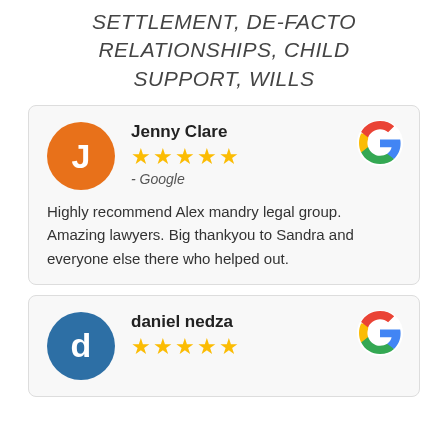SEPARATION & DIVORCE, CHILDREN, PROPERTY SETTLEMENT, DE-FACTO RELATIONSHIPS, CHILD SUPPORT, WILLS
Jenny Clare
★★★★★
- Google
Highly recommend Alex mandry legal group. Amazing lawyers. Big thankyou to Sandra and everyone else there who helped out.
daniel nedza
★★★★★